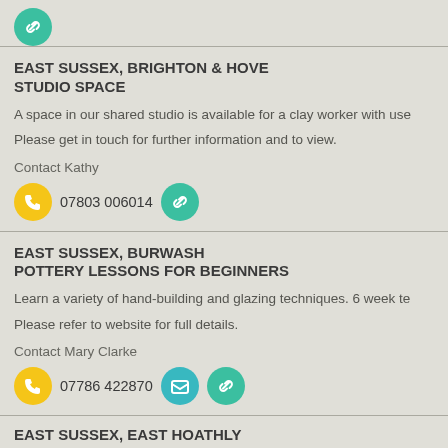[Figure (other): Green teal circle with chain link icon at top]
EAST SUSSEX, BRIGHTON & HOVE
STUDIO SPACE
A space in our shared studio is available for a clay worker with use…
Please get in touch for further information and to view.
Contact Kathy
07803 006014
EAST SUSSEX, BURWASH
POTTERY LESSONS FOR BEGINNERS
Learn a variety of hand-building and glazing techniques. 6 week te…
Please refer to website for full details.
Contact Mary Clarke
07786 422870
EAST SUSSEX, EAST HOATHLY